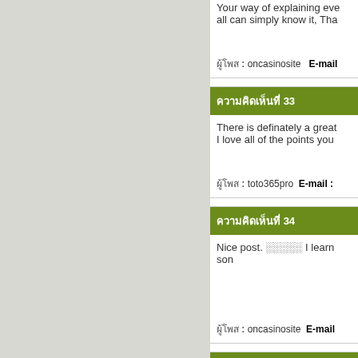Your way of explaining everything in this article is genuinely pleasant, all can simply know it, Thanks a lot.
ผู้โพส : oncasinosite   E-mail :
ความคิดเห็นที่ 33
There is definately a great deal to find out about this subject. I love all of the points you made.
ผู้โพส : toto365pro   E-mail :
ความคิดเห็นที่ 34
Nice post. ░░░░░ I learn something new and challenging on sites I stumbleupon everyday.
ผู้โพส : oncasinosite   E-mail :
ความคิดเห็นที่ 35